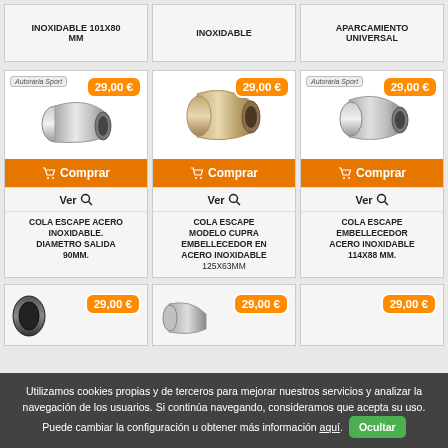[Figure (screenshot): E-commerce product grid showing exhaust tips (colas de escape) with prices of 29,00€ each, Comprar and Ver buttons, and a cookie consent bar at the bottom.]
COLA ESCAPE ACERO INOXIDABLE. DIAMETRO SALIDA 90mm.
COLA ESCAPE MODELO CUPRA EMBELLECEDOR EN ACERO INOXIDABLE 125x63mm
COLA ESCAPE EMBELLECEDOR ACERO INOXIDABLE 114X88 MM.
Utilizamos cookies propias y de terceros para mejorar nuestros servicios y analizar la navegación de los usuarios. Si continúa navegando, consideramos que acepta su uso. Puede cambiar la configuración u obtener más información aquí.